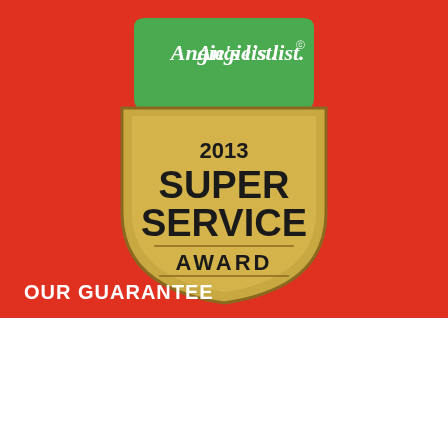[Figure (logo): Angie's List 2013 Super Service Award badge/shield. Gold shield shape with green speech bubble top showing 'Angie's list.' in white text. Shield text reads '2013 SUPER SERVICE AWARD' in dark bold letters on gold background.]
OUR GUARANTEE
This website uses cookies to improve your experience. We'll assume you're ok with this, but you can opt-out if you wish.
Cookie settings   ACCEPT